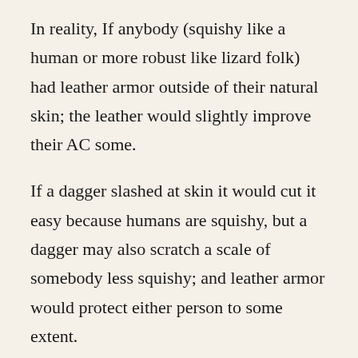In reality, If anybody (squishy like a human or more robust like lizard folk) had leather armor outside of their natural skin; the leather would slightly improve their AC some.
If a dagger slashed at skin it would cut it easy because humans are squishy, but a dagger may also scratch a scale of somebody less squishy; and leather armor would protect either person to some extent.
I'm not saying this changes the rules as written, I'm just saying let's use some common sense...